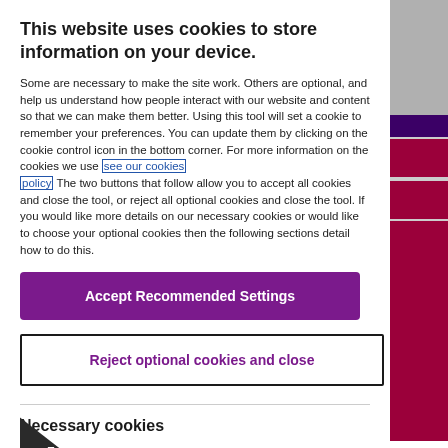This website uses cookies to store information on your device.
Some are necessary to make the site work. Others are optional, and help us understand how people interact with our website and content so that we can make them better. Using this tool will set a cookie to remember your preferences. You can update them by clicking on the cookie control icon in the bottom corner. For more information on the cookies we use see our cookies policy. The two buttons that follow allow you to accept all cookies and close the tool, or reject all optional cookies and close the tool. If you would like more details on our necessary cookies or would like to choose your optional cookies then the following sections detail how to do this.
Accept Recommended Settings
Reject optional cookies and close
Necessary cookies
make our website work as it should. You can disable them via your settings, but this may prevent certain functionality from working.